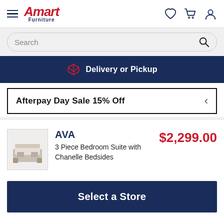[Figure (logo): Amart Furniture logo with hamburger menu icon on the left and heart, cart, user icons on the right]
Search
Delivery or Pickup
Afterpay Day Sale 15% Off
AVA
3 Piece Bedroom Suite with Chanelle Bedsides
$2,299.00
Select a Store